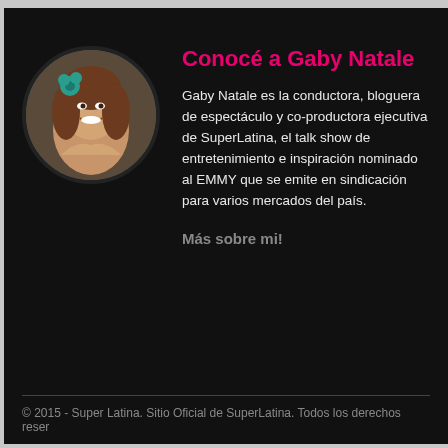[Figure (photo): Circular portrait photo of Gaby Natale, a woman with long brown hair and a flower accessory, smiling, on dark background]
Conocé a Gaby Natale
Gaby Natale es la conductora, bloguera de espectáculo y co-productora ejecutiva de SuperLatina, el talk show de entretenimiento e inspiración nominado al EMMY que se emite en sindicación para varios mercados del país.
Más sobre mi!
© 2015 - Super Latina. Sitio Oficial de SuperLatina. Todos los derechos reser